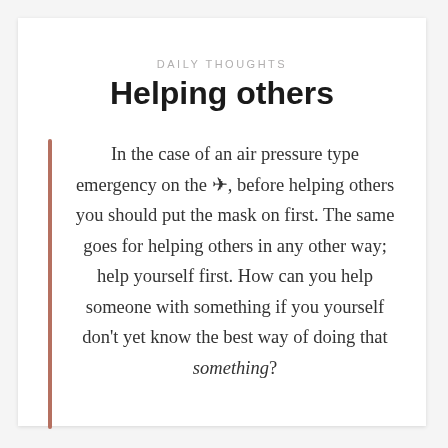DAILY THOUGHTS
Helping others
In the case of an air pressure type emergency on the ✈, before helping others you should put the mask on first. The same goes for helping others in any other way; help yourself first. How can you help someone with something if you yourself don't yet know the best way of doing that something?